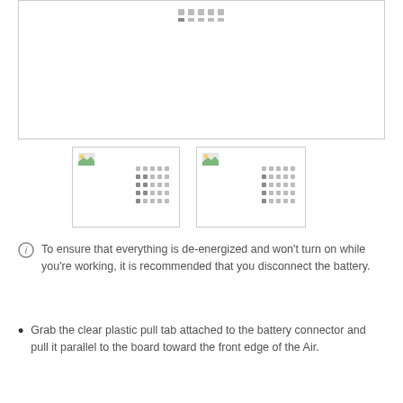[Figure (photo): Large placeholder image box at top with dot pattern indicator]
[Figure (photo): Left thumbnail placeholder image with icon and dot grid]
[Figure (photo): Right thumbnail placeholder image with icon and dot grid]
To ensure that everything is de-energized and won't turn on while you're working, it is recommended that you disconnect the battery.
Grab the clear plastic pull tab attached to the battery connector and pull it parallel to the board toward the front edge of the Air.